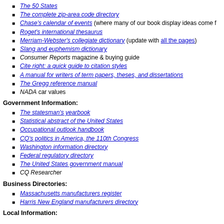The 50 States
The complete zip-area code directory
Chase's calendar of events (where many of our book display ideas come f…)
Roget's international thesaurus
Merriam-Webster's collegiate dictionary (update with all the pages)
Slang and euphemism dictionary
Consumer Reports magazine & buying guide
Cite right: a quick guide to citation styles
A manual for writers of term papers, theses, and dissertations
The Gregg reference manual
NADA car values
Government Information:
The statesman's yearbook
Statistical abstract of the United States
Occupational outlook handbook
CQ's politics in America, the 110th Congress
Washington information directory
Federal regulatory directory
The United States government manual
CQ Researcher
Business Directories:
Massachusetts manufacturers register
Harris New England manufacturers directory
Local Information: